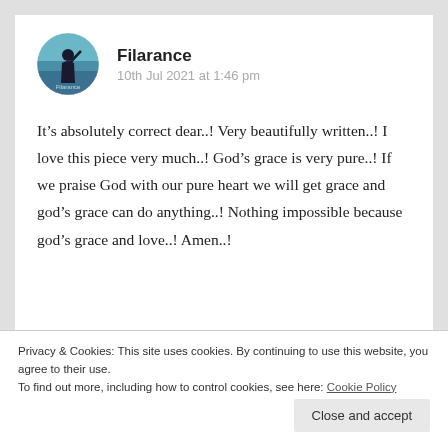[Figure (photo): Circular avatar photo of user Filarance showing a silhouette against a teal/blue sky background]
Filarance
10th Jul 2021 at 1:46 pm
It’s absolutely correct dear..! Very beautifully written..! I love this piece very much..! God’s grace is very pure..! If we praise God with our pure heart we will get grace and god’s grace can do anything..! Nothing impossible because god’s grace and love..! Amen..!
Privacy & Cookies: This site uses cookies. By continuing to use this website, you agree to their use.
To find out more, including how to control cookies, see here: Cookie Policy
Close and accept